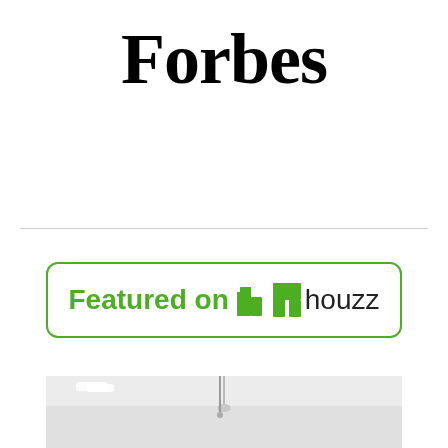[Figure (logo): Forbes magazine logo in large bold serif font, black text on white background]
[Figure (logo): Featured on Houzz badge — green rounded rectangle border with green bold text 'Featured on', green house icon, and black text 'houzz']
[Figure (photo): Partial interior room photo showing ceiling with light fixture, light grey/white walls]